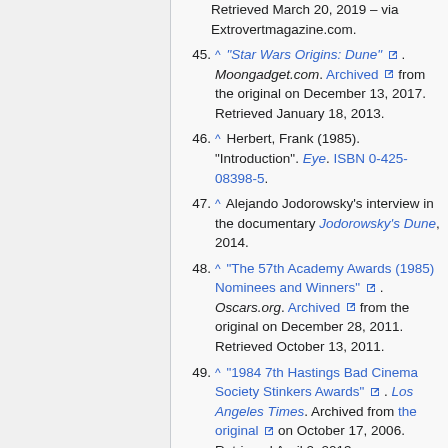Retrieved March 20, 2019 – via Extrovertmagazine.com.
45. ^ "Star Wars Origins: Dune". Moongadget.com. Archived from the original on December 13, 2017. Retrieved January 18, 2013.
46. ^ Herbert, Frank (1985). "Introduction". Eye. ISBN 0-425-08398-5.
47. ^ Alejando Jodorowsky's interview in the documentary Jodorowsky's Dune, 2014.
48. ^ "The 57th Academy Awards (1985) Nominees and Winners". Oscars.org. Archived from the original on December 28, 2011. Retrieved October 13, 2011.
49. ^ "1984 7th Hastings Bad Cinema Society Stinkers Awards". Los Angeles Times. Archived from the original on October 17, 2006. Retrieved April 2, 2013.